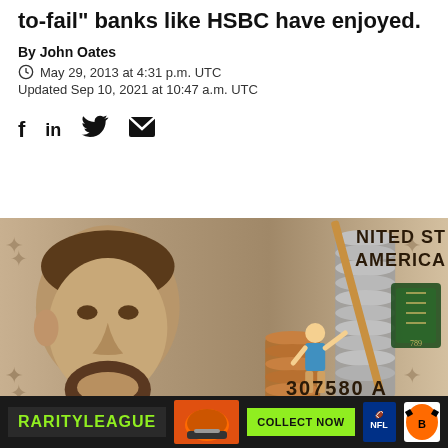to-fail" banks like HSBC have enjoyed.
By John Oates
May 29, 2013 at 4:31 p.m. UTC
Updated Sep 10, 2021 at 10:47 a.m. UTC
[Figure (illustration): Social media sharing icons: Facebook (f), LinkedIn (in), Twitter bird, Email envelope]
[Figure (photo): A miniature figurine of a person lifting a large stick next to stacks of coins, with a US $5 bill featuring Abraham Lincoln in the background. Text visible: NITED STATES OF AMERICA, 307580 A. An advertisement banner at the bottom shows RarityLeague with NFL and Cincinnati Bengals logos and a 'COLLECT NOW' button.]